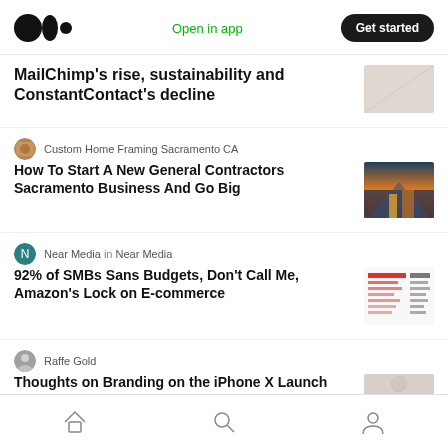Medium app header with logo, Open in app link, Get started button
MailChimp's rise, sustainability and ConstantContact's decline
Custom Home Framing Sacramento CA
How To Start A New General Contractors Sacramento Business And Go Big
Near Media in Near Media
92% of SMBs Sans Budgets, Don't Call Me, Amazon's Lock on E-commerce
Raffe Gold
Thoughts on Branding on the iPhone X Launch Day
Home, Search, Profile navigation